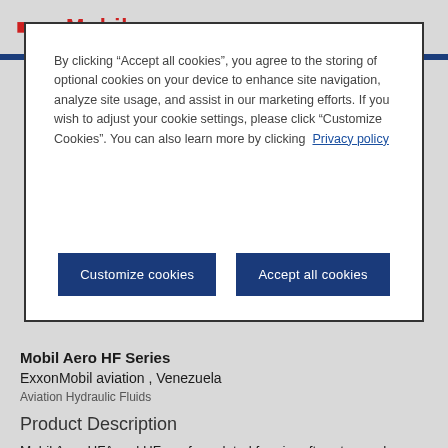ExxonMobil
By clicking “Accept all cookies”, you agree to the storing of optional cookies on your device to enhance site navigation, analyze site usage, and assist in our marketing efforts. If you wish to adjust your cookie settings, please click “Customize Cookies”. You can also learn more by clicking Privacy policy
Customize cookies
Accept all cookies
Mobil Aero HF Series
ExxonMobil aviation , Venezuela
Aviation Hydraulic Fluids
Product Description
Mobil Aero HFA and HF are formulated for aircraft systems where use of hydrocarbon-based hydraulic fluids is required. They are low viscosity products, high VI (viscosity index) fluid with excellent low temperature properties, good anti-wear performance, and good chemical stability.